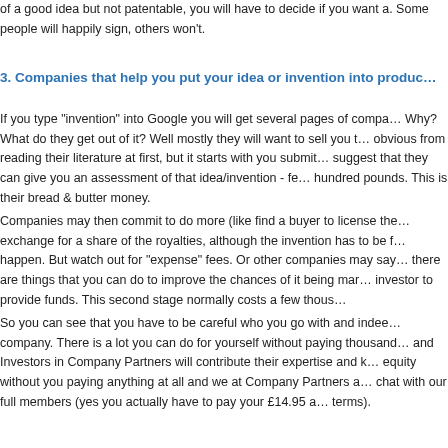of a good idea but not patentable, you will have to decide if you want a. Some people will happily sign, others won't.
3. Companies that help you put your idea or invention into produc…
If you type "invention" into Google you will get several pages of compa… Why? What do they get out of it? Well mostly they will want to sell you t… obvious from reading their literature at first, but it starts with you submit… suggest that they can give you an assessment of that idea/invention - fe… hundred pounds. This is their bread & butter money.
Companies may then commit to do more (like find a buyer to license the… exchange for a share of the royalties, although the invention has to be f… happen. But watch out for "expense" fees. Or other companies may say… there are things that you can do to improve the chances of it being mar… investor to provide funds. This second stage normally costs a few thous…
So you can see that you have to be careful who you go with and indee… company. There is a lot you can do for yourself without paying thousand… and Investors in Company Partners will contribute their expertise and k… equity without you paying anything at all and we at Company Partners a… chat with our full members (yes you actually have to pay your £14.95 a… terms).